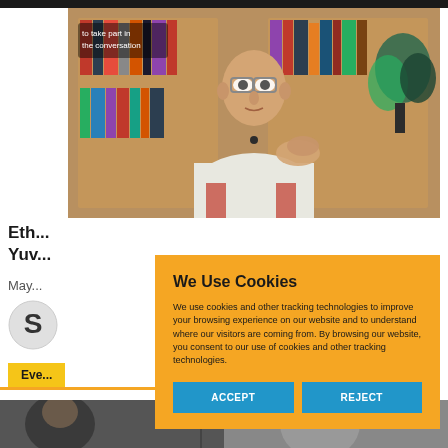[Figure (photo): A bald man wearing glasses and a white shirt sits in front of a bookshelf, gesturing with his right hand during what appears to be a video recording or interview.]
Eth...
Yuv...
May...
[Figure (logo): Circular logo with letter S]
Eve...
[Figure (photo): Bottom image strip showing partial photo]
We Use Cookies
We use cookies and other tracking technologies to improve your browsing experience on our website and to understand where our visitors are coming from. By browsing our website, you consent to our use of cookies and other tracking technologies.
ACCEPT
REJECT